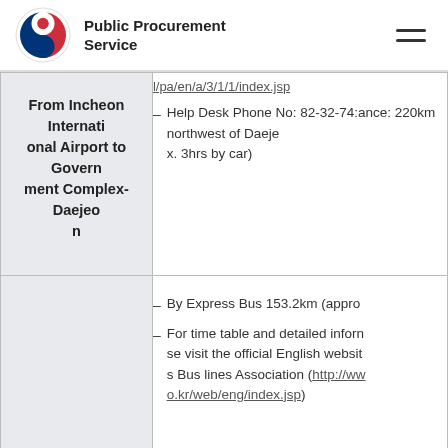Public Procurement Service
| From | Details |
| --- | --- |
| From Incheon International Airport to Government Complex-Daejeon | l/pa/en/a/3/1/1/index.jsp
- Help Desk Phone No: 82-32-74:ance: 220km northwest of Daejeon. 3hrs by car) |
|  | - By Express Bus 153.2km (appro
- For time table and detailed information se visit the official English website s Bus lines Association (http://ww o.kr/web/eng/index.jsp) |